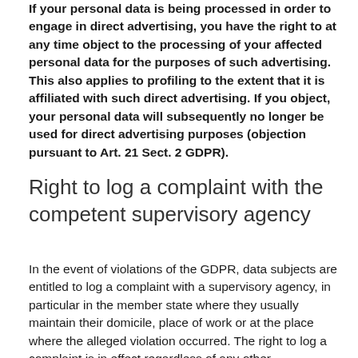If your personal data is being processed in order to engage in direct advertising, you have the right to at any time object to the processing of your affected personal data for the purposes of such advertising. This also applies to profiling to the extent that it is affiliated with such direct advertising. If you object, your personal data will subsequently no longer be used for direct advertising purposes (objection pursuant to Art. 21 Sect. 2 GDPR).
Right to log a complaint with the competent supervisory agency
In the event of violations of the GDPR, data subjects are entitled to log a complaint with a supervisory agency, in particular in the member state where they usually maintain their domicile, place of work or at the place where the alleged violation occurred. The right to log a complaint is in effect regardless of any other administrative or court proceedings available as legal recourses.